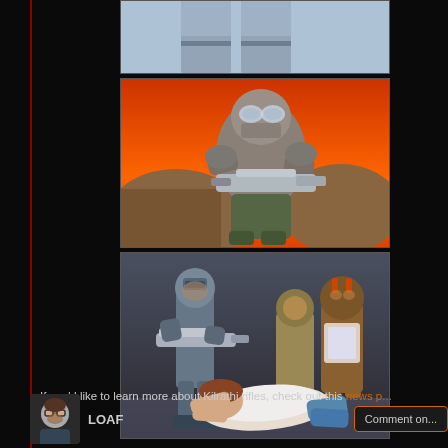[Figure (illustration): Animated cartoon scene (top, partially cropped) showing characters in grey/blue uniforms from below]
[Figure (illustration): Animated cartoon scene showing an alien/masked character with goggles holding a large rifle, against an orange/red sky with rocky terrain]
[Figure (illustration): Animated cartoon scene showing a human character crawling on the ground while an armored figure with a rifle stands over them alongside other alien characters]
If you'd like to learn more about Kilrathi rifles, check out this news p...
[Figure (photo): Avatar/profile image of LOAF user]
LOAF
Comment on...